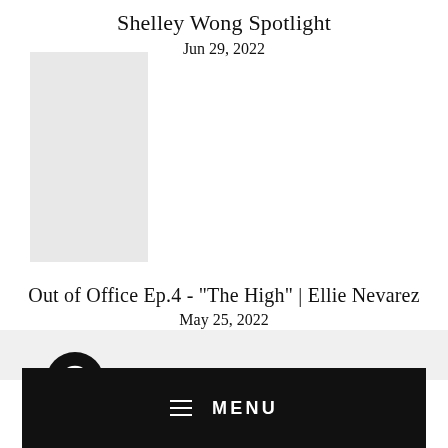Shelley Wong Spotlight
Jun 29, 2022
[Figure (photo): Photo placeholder for Shelley Wong Spotlight article]
Out of Office Ep.4 - "The High" | Ellie Nevarez
May 25, 2022
[Figure (logo): Circular black icon with target/circle symbol]
MENU